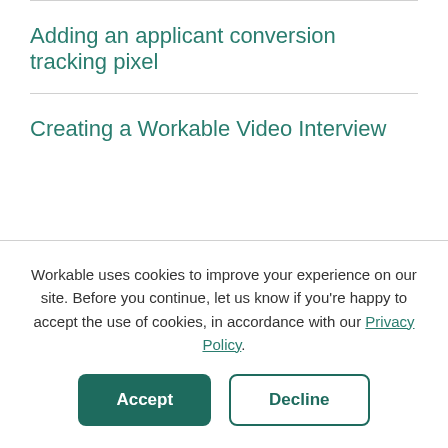Adding an applicant conversion tracking pixel
Creating a Workable Video Interview
Workable uses cookies to improve your experience on our site. Before you continue, let us know if you're happy to accept the use of cookies, in accordance with our Privacy Policy.